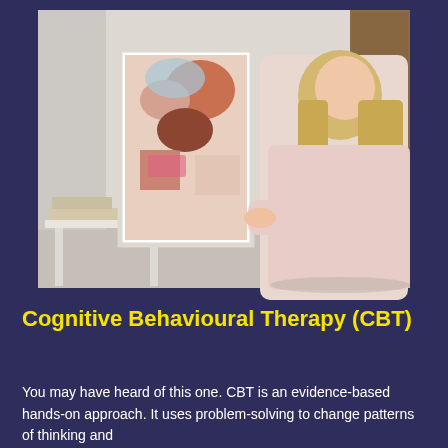[Figure (photo): A young woman with long blonde hair wearing a light pink sweatshirt, sitting at a white table looking at a colorful abstract painting on a canvas in a bright room. There are books on the table and storage cabinets visible in the background.]
Cognitive Behavioural Therapy (CBT)
You may have heard of this one. CBT is an evidence-based hands-on approach. It uses problem-solving to change patterns of thinking and